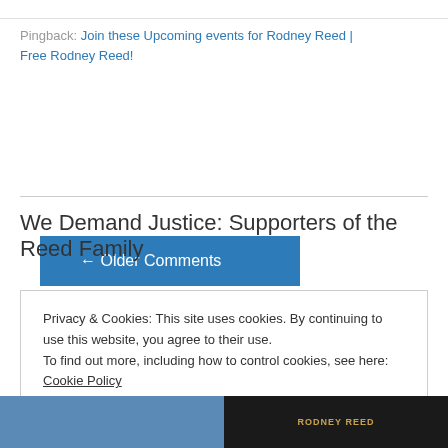Pingback: Join these Upcoming events for Rodney Reed | Free Rodney Reed!
← Older Comments
We Demand Justice: Supporters of the Reed Family
Privacy & Cookies: This site uses cookies. By continuing to use this website, you agree to their use.
To find out more, including how to control cookies, see here: Cookie Policy
Close and accept
[Figure (photo): Two images at the bottom of the page: left image shows a person in blue tones, right image shows text 'RODNEY REED' in orange/gold lettering on dark background]